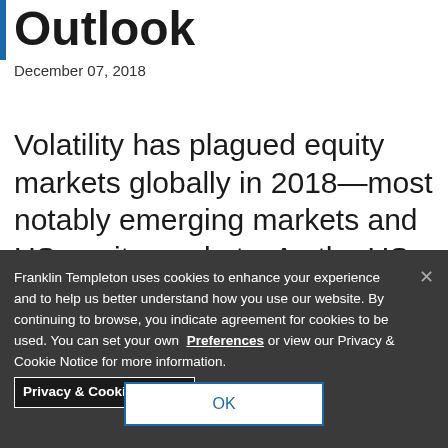Outlook
December 07, 2018
Volatility has plagued equity markets globally in 2018—most notably emerging markets and US equity markets. As the US economic expansion officially crossed the nine-year mark in 2018, many investors
Franklin Templeton uses cookies to enhance your experience and to help us better understand how you use our website. By continuing to browse, you indicate agreement for cookies to be used. You can set your own Preferences or view our Privacy & Cookie Notice for more information. Privacy & Cookie Notices
OK